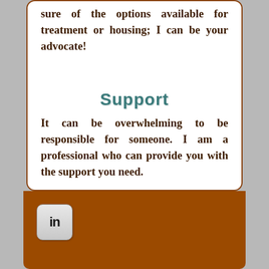sure of the options available for treatment or housing; I can be your advocate!
Support
It can be overwhelming to be responsible for someone. I am a professional who can provide you with the support you need.
[Figure (logo): LinkedIn logo button — rounded square with 'in' text]